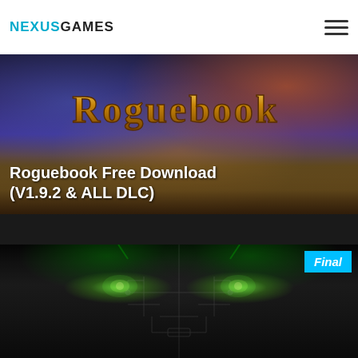NEXUSGAMES
[Figure (photo): Roguebook game cover art showing a fantasy scene with characters and stylized 'Roguebook' logo text in gold/orange]
Roguebook Free Download (V1.9.2 & ALL DLC)
[Figure (photo): Dark cyberpunk panther face with glowing green eyes and circuit board patterns, with a cyan 'Final' badge in top-right corner]